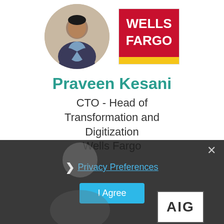[Figure (photo): Circular headshot photo of Praveen Kesani and Wells Fargo logo badge]
Praveen Kesani
CTO - Head of Transformation and Digitization
Wells Fargo
[Figure (screenshot): Dark overlay with Privacy Preferences link, I Agree button, close X button, and partially visible AIG logo at bottom right]